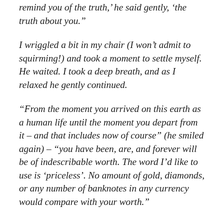remind you of the truth,’ he said gently, ‘the truth about you.”
I wriggled a bit in my chair (I won’t admit to squirming!) and took a moment to settle myself. He waited. I took a deep breath, and as I relaxed he gently continued.
“From the moment you arrived on this earth as a human life until the moment you depart from it – and that includes now of course” (he smiled again) – “you have been, are, and forever will be of indescribable worth. The word I’d like to use is ‘priceless’. No amount of gold, diamonds, or any number of banknotes in any currency would compare with your worth.”